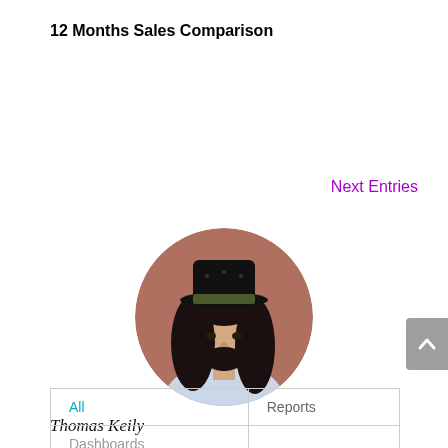12 Months Sales Comparison
Next Entries
[Figure (photo): Circular profile photo of a man with long dark curly hair, beard, and a black hat, wearing a light blue shirt. Background is reddish-brown.]
Thomas Keily
| All | Reports |
| --- | --- |
| Dashboards |  |